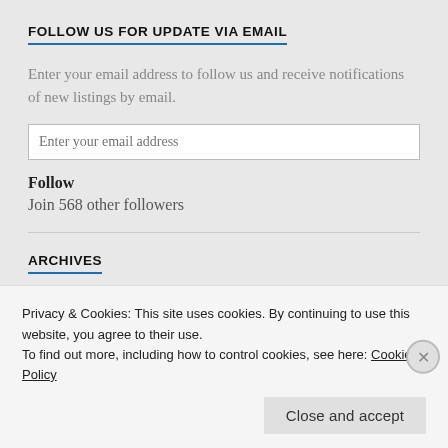FOLLOW US FOR UPDATE VIA EMAIL
Enter your email address to follow us and receive notifications of new listings by email.
Enter your email address
Follow
Join 568 other followers
ARCHIVES
Select Month
Privacy & Cookies: This site uses cookies. By continuing to use this website, you agree to their use.
To find out more, including how to control cookies, see here: Cookie Policy
Close and accept